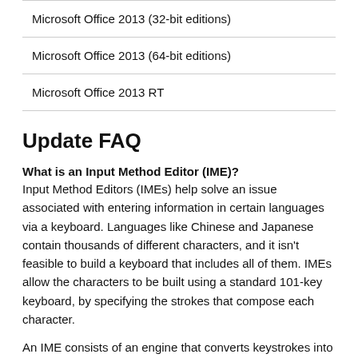| Microsoft Office 2013 (32-bit editions) |
| Microsoft Office 2013 (64-bit editions) |
| Microsoft Office 2013 RT |
Update FAQ
What is an Input Method Editor (IME)?
Input Method Editors (IMEs) help solve an issue associated with entering information in certain languages via a keyboard. Languages like Chinese and Japanese contain thousands of different characters, and it isn't feasible to build a keyboard that includes all of them. IMEs allow the characters to be built using a standard 101-key keyboard, by specifying the strokes that compose each character.
An IME consists of an engine that converts keystrokes into